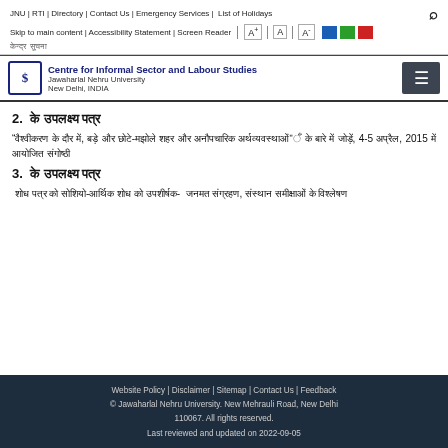JNU | RTI | Directory | Contact Us | Emergency Services | List of Holidays
Skip to main content | Accessibility Statement | Screen Reader | A+ | A | A-
Centre for Informal Sector and Labour Studies, Jawaharlal Nehru University, New Delhi, INDIA
2. [Hindi text - section heading]
[Hindi text paragraph - conference/seminar details with date 4-5 [month], 2015]
3. [Hindi text - section heading]
[Hindi text paragraph - publication/research details]
Website Policy | Disclaimer | Sitemap | Contact Us | Feedback
© Jawaharlal Nehru University. New Mehrauli Road, New Delhi 110067. All rights reserved.
Last reviewed and updated on 2022-09-05